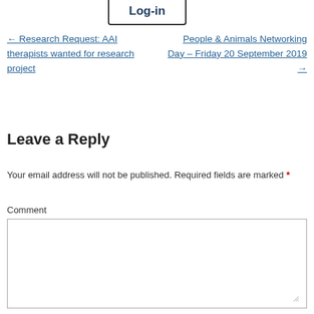Log-in
← Research Request: AAI therapists wanted for research project
People & Animals Networking Day – Friday 20 September 2019 →
Leave a Reply
Your email address will not be published. Required fields are marked *
Comment